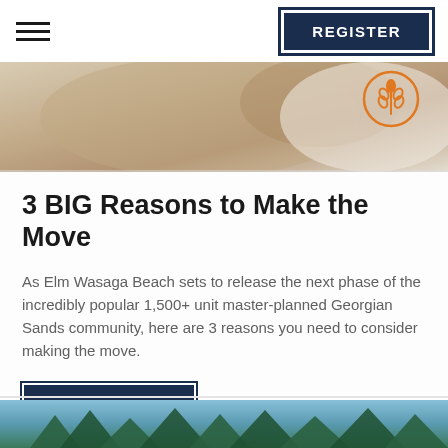REGISTER
[Figure (photo): Partial hero image showing sandy/wooden surface with an orange circular leaf icon badge in the upper right corner]
3 BIG Reasons to Make the Move
As Elm Wasaga Beach sets to release the next phase of the incredibly popular 1,500+ unit master-planned Georgian Sands community, here are 3 reasons you need to consider making the move.
READ MORE
[Figure (photo): Partial bottom image showing trees against a blue sky, partially cropped at page bottom]